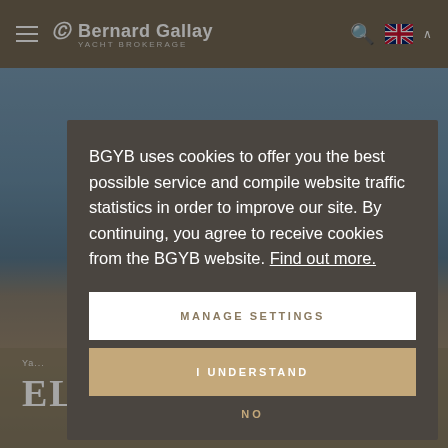Bernard Gallay Yacht Brokerage
[Figure (screenshot): Background scene of coastal town with water and hills]
BGYB uses cookies to offer you the best possible service and compile website traffic statistics in order to improve our site. By continuing, you agree to receive cookies from the BGYB website. Find out more.
MANAGE SETTINGS
I UNDERSTAND
NO
Ya...
ELISE WHISPER